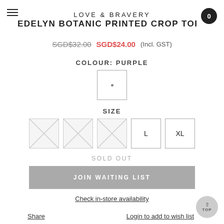LOVE & BRAVERY
EDELYN BOTANIC PRINTED CROP TOP
SGD$32.00  SGD$24.00  (Incl. GST)
COLOUR: PURPLE
[Figure (other): Purple colour swatch box with a small dot in center]
SIZE
[Figure (other): Five size boxes: three crossed out (sold out), L and XL available]
SOLD OUT
JOIN WAITING LIST
Check in-store availability
Share
Login to add to wish list